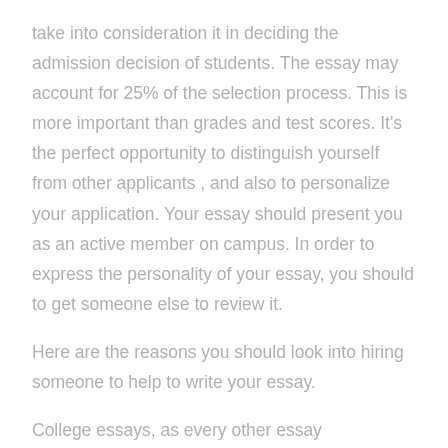take into consideration it in deciding the admission decision of students. The essay may account for 25% of the selection process. This is more important than grades and test scores. It's the perfect opportunity to distinguish yourself from other applicants , and also to personalize your application. Your essay should present you as an active member on campus. In order to express the personality of your essay, you should to get someone else to review it.
Here are the reasons you should look into hiring someone to help to write your essay.
College essays, as every other essay assignment,